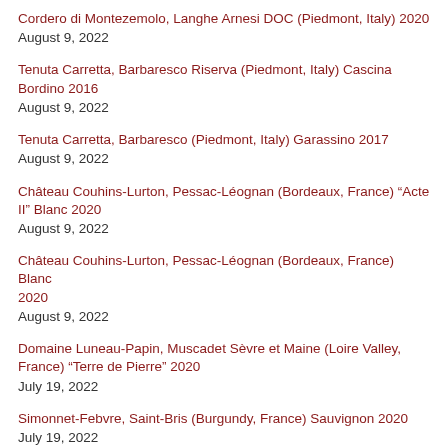Cordero di Montezemolo, Langhe Arnesi DOC (Piedmont, Italy) 2020
August 9, 2022
Tenuta Carretta, Barbaresco Riserva (Piedmont, Italy) Cascina Bordino 2016
August 9, 2022
Tenuta Carretta, Barbaresco (Piedmont, Italy) Garassino 2017
August 9, 2022
Château Couhins-Lurton, Pessac-Léognan (Bordeaux, France) "Acte II" Blanc 2020
August 9, 2022
Château Couhins-Lurton, Pessac-Léognan (Bordeaux, France) Blanc 2020
August 9, 2022
Domaine Luneau-Papin, Muscadet Sèvre et Maine (Loire Valley, France) "Terre de Pierre" 2020
July 19, 2022
Simonnet-Febvre, Saint-Bris (Burgundy, France) Sauvignon 2020
July 19, 2022